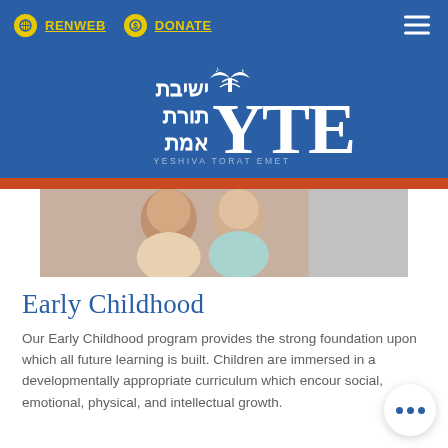RENWEB   DONATE
[Figure (logo): Yeshiva Torat Emet (YTE) logo with Hebrew text and open book emblem on blue background]
[Figure (photo): Two young girls smiling together, promotional photo for Early Childhood program]
Early Childhood
Our Early Childhood program provides the strong foundation upon which all future learning is built. Children are immersed in a developmentally appropriate curriculum which encour social, emotional, physical, and intellectual growth.